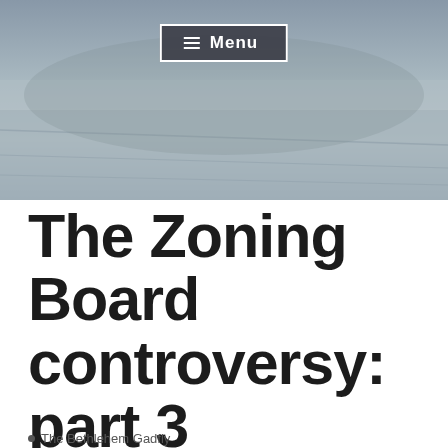[Figure (photo): Aerial or ground-level photograph of a stone/concrete public space or plaza, shown in grayscale tones of grey and light blue-grey. A navigation menu button labeled 'Menu' with hamburger icon is overlaid at the top center.]
☰ Menu
The Zoning Board controversy: part 3
The Bethlehem Gadfly